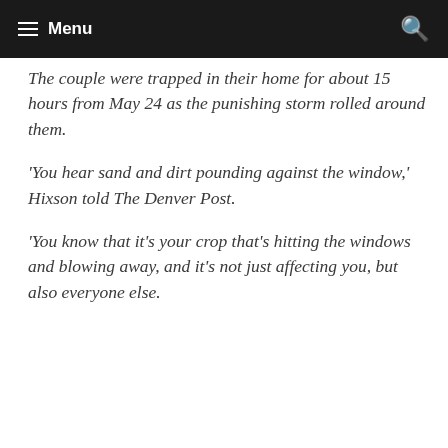Menu
The couple were trapped in their home for about 15 hours from May 24 as the punishing storm rolled around them.
'You hear sand and dirt pounding against the window,' Hixson told The Denver Post.
'You know that it's your crop that's hitting the windows and blowing away, and it's not just affecting you, but also everyone else.